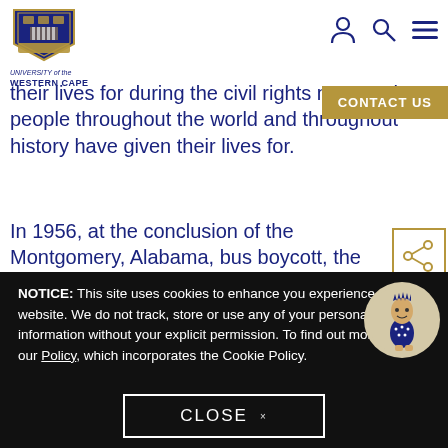[Figure (logo): University of the Western Cape shield crest logo with navy blue and gold colours]
UNIVERSITY of the WESTERN CAPE
[Figure (infographic): Navigation icons: person (account), search (magnifying glass), and hamburger menu in navy blue]
their lives for during the civil rights move... that people throughout the world and throughout history have given their lives for.
[Figure (other): CONTACT US button in gold/tan colour]
In 1956, at the conclusion of the Montgomery, Alabama, bus boycott, the first large-scale protest against racial segregation in America, then 26-year-old
[Figure (other): Share icon button with orange/gold border showing network share symbol]
NOTICE: This site uses cookies to enhance you experience on our website. We do not track, store or use any of your personal information without your explicit permission. To find out more, read our Policy, which incorporates the Cookie Policy.
[Figure (illustration): UWC mascot character - a stylized figure wearing blue outfit in a circular frame]
CLOSE ×